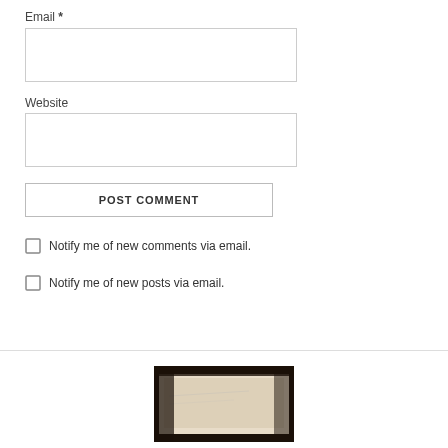Email *
[Figure (other): Email input text field]
Website
[Figure (other): Website input text field]
POST COMMENT
Notify me of new comments via email.
Notify me of new posts via email.
[Figure (photo): Black and white photo of what appears to be paper or a surface with faint markings]